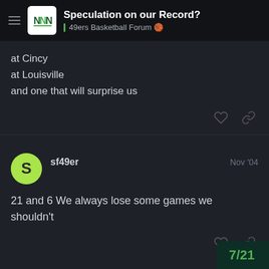Speculation on our Record? | 49ers Basketball Forum
at Cincy
at Louisville
and one that will surprise us
sf49er  Nov '04
21 and 6 We always lose some games we shouldn't
7/21